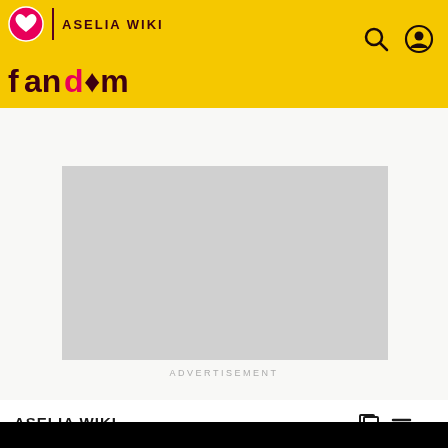ASELIA WIKI
[Figure (screenshot): Fandom website header with yellow background, Aselia Wiki branding, search and user icons]
ADVERTISEMENT
ASELIA WIKI
Giet